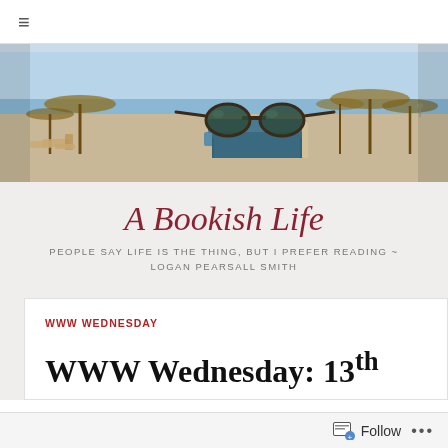≡
[Figure (photo): Beach scene with sunglasses resting on top of a stack of books, beach chairs and umbrellas in the blurred background]
A Bookish Life
PEOPLE SAY LIFE IS THE THING, BUT I PREFER READING ~ LOGAN PEARSALL SMITH
WWW WEDNESDAY
WWW Wednesday: 13th